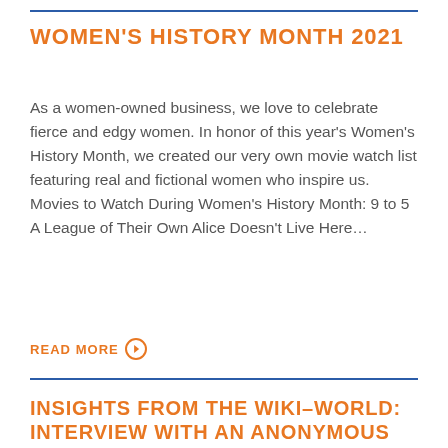WOMEN'S HISTORY MONTH 2021
As a women-owned business, we love to celebrate fierce and edgy women. In honor of this year's Women's History Month, we created our very own movie watch list featuring real and fictional women who inspire us. Movies to Watch During Women's History Month: 9 to 5 A League of Their Own Alice Doesn't Live Here…
READ MORE ⊙
INSIGHTS FROM THE WIKI–WORLD: INTERVIEW WITH AN ANONYMOUS